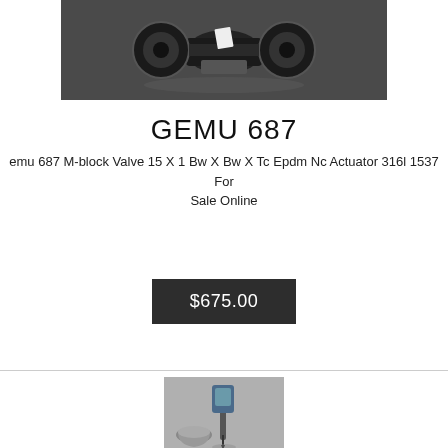[Figure (photo): Photo of GEMU 687 M-block valve actuator hardware on dark background]
GEMU 687
emu 687 M-block Valve 15 X 1 Bw X Bw X Tc Epdm Nc Actuator 316l 1537 For Sale Online
$675.00
[Figure (photo): Photo of a garden soil moisture meter/probe next to a small concrete planter pot on pavement]